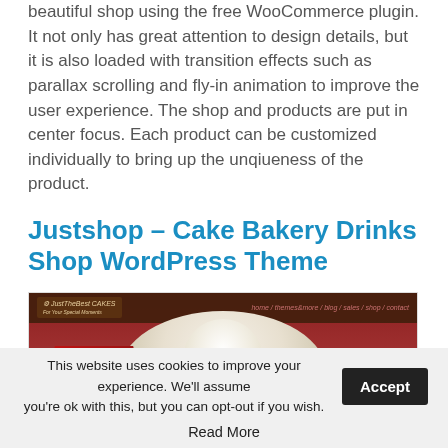beautiful shop using the free WooCommerce plugin. It not only has great attention to design details, but it is also loaded with transition effects such as parallax scrolling and fly-in animation to improve the user experience. The shop and products are put in center focus. Each product can be customized individually to bring up the unqiueness of the product.
Justshop – Cake Bakery Drinks Shop WordPress Theme
[Figure (screenshot): Screenshot of the Justshop WordPress theme showing a bakery website with cupcakes, a dark navigation bar with 'JustTheBest CAKES' logo and nav links, and a red promotional banner reading 'Do you like our cakes?']
This website uses cookies to improve your experience. We'll assume you're ok with this, but you can opt-out if you wish. Accept
Read More